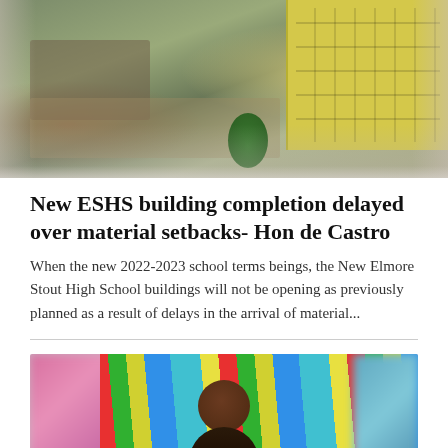[Figure (photo): Aerial view of construction site showing rubble/demolished building on the left and a new yellow multi-story building (ESHS) under construction on the right, surrounded by trees and ground-level vehicles.]
New ESHS building completion delayed over material setbacks- Hon de Castro
When the new 2022-2023 school terms beings, the New Elmore Stout High School buildings will not be opening as previously planned as a result of delays in the arrival of material...
[Figure (photo): Portrait photo of a person (appears to be an older man) in front of colorful fabric/flags in red, green, yellow, blue and teal colors, with blurred pink on the left side and blurred blue on the right side.]